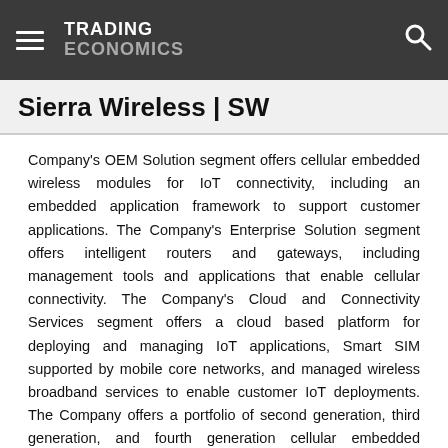TRADING ECONOMICS
Sierra Wireless | SW
Company's OEM Solution segment offers cellular embedded wireless modules for IoT connectivity, including an embedded application framework to support customer applications. The Company's Enterprise Solution segment offers intelligent routers and gateways, including management tools and applications that enable cellular connectivity. The Company's Cloud and Connectivity Services segment offers a cloud based platform for deploying and managing IoT applications, Smart SIM supported by mobile core networks, and managed wireless broadband services to enable customer IoT deployments. The Company offers a portfolio of second generation, third generation, and fourth generation cellular embedded wireless modules and gateways, integrated with its secure cloud and connectivity services. The Company offers its products to original equipment manufacturers (OEMs) and